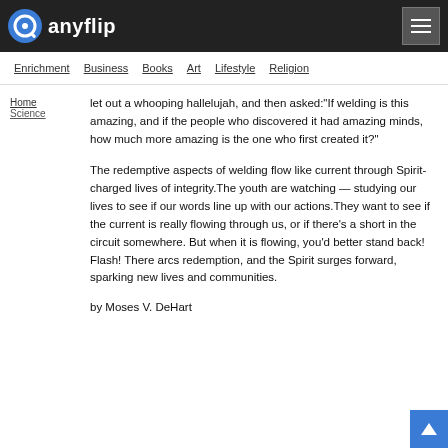anyflip
Enrichment  Business  Books  Art  Lifestyle  Religion
Home  Science
let out a whooping hallelujah, and then asked:“If welding is this amazing, and if the people who discovered it had amazing minds, how much more amazing is the one who first created it?”
The redemptive aspects of welding flow like current through Spirit-charged lives of integrity.The youth are watching — studying our lives to see if our words line up with our actions.They want to see if the current is really flowing through us, or if there’s a short in the circuit somewhere. But when it is flowing, you’d better stand back! Flash! There arcs redemption, and the Spirit surges forward, sparking new lives and communities.
by Moses V. DeHart